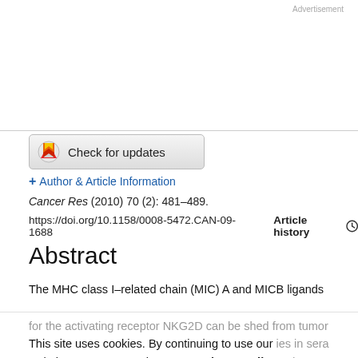Advertisement
[Figure (other): Check for updates button with badge icon]
+ Author & Article Information
Cancer Res (2010) 70 (2): 481–489.
https://doi.org/10.1158/0008-5472.CAN-09-1688    Article history
Abstract
The MHC class I–related chain (MIC) A and MICB ligands for the activating receptor NKG2D can be shed from tumor cells and accumulate as soluble molecules in sera from cancer patients and correlate with progression of disease. Recently, thiol disulphide isomerases and members of the ADAM (a disintegrin and
This site uses cookies. By continuing to use our website, you are agreeing to our privacy policy. Accept